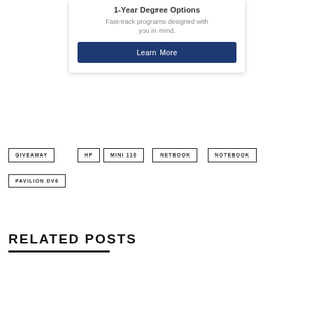[Figure (screenshot): Advertisement card for 1-Year Degree Options with subtitle 'Fast-track programs designed with you in mind.' and a dark blue Learn More button, overlaid on a blurred background image]
GIVEAWAY
HP
MINI 110
NETBOOK
NOTEBOOK
PAVILION DV6
RELATED POSTS